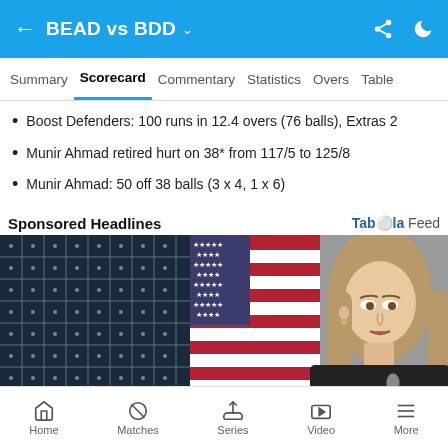BEAD vs BDD
Summary  Scorecard  Commentary  Statistics  Overs  Table
Boost Defenders: 100 runs in 12.4 overs (76 balls), Extras 2
Munir Ahmad retired hurt on 38* from 117/5 to 125/8
Munir Ahmad: 50 off 38 balls (3 x 4, 1 x 6)
Sponsored Headlines
[Figure (photo): Woman with long blonde hair wearing black, seated in front of a US flag and a solar panel. Appears to be a news/editorial photo.]
Home  Matches  Series  Video  More